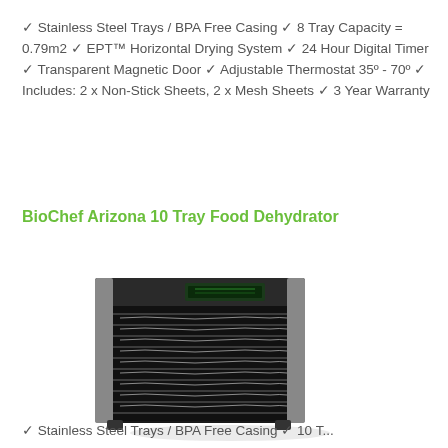✓ Stainless Steel Trays / BPA Free Casing ✓ 8 Tray Capacity = 0.79m2 ✓ EPT™ Horizontal Drying System ✓ 24 Hour Digital Timer ✓ Transparent Magnetic Door ✓ Adjustable Thermostat 35º - 70º ✓ Includes: 2 x Non-Stick Sheets, 2 x Mesh Sheets ✓ 3 Year Warranty
BioChef Arizona 10 Tray Food Dehydrator
[Figure (photo): BioChef Arizona 10 Tray Food Dehydrator - a black box-shaped food dehydrator with multiple stainless steel mesh trays visible through the front, with a digital display panel on top]
✓ Stainless Steel Trays / BPA Free Casing ✓ 10 T...